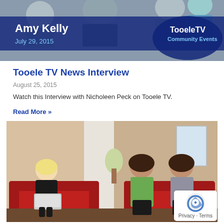[Figure (photo): TV news lower-third graphic showing 'Amy Kelly' and 'July 29, 2015' overlaid on a group photo, with TooeleTV Community Events logo badge on the right.]
Tooele TV News Interview
August 25, 2015
Watch this Interview with Nicholeen Peck on Tooele TV.
Read More »
[Figure (photo): Indoor interview scene with three women seated on red sofas. A blonde woman on the left holds a laptop, and two younger women are seated across from her.]